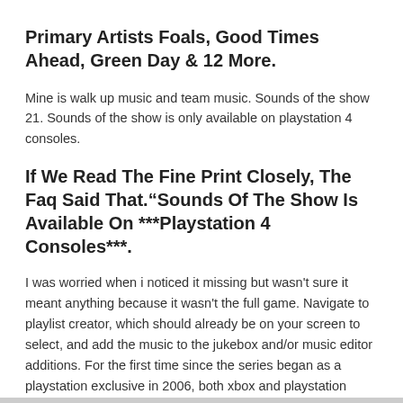Primary Artists Foals, Good Times Ahead, Green Day & 12 More.
Mine is walk up music and team music. Sounds of the show 21. Sounds of the show is only available on playstation 4 consoles.
If We Read The Fine Print Closely, The Faq Said That.“Sounds Of The Show Is Available On ***Playstation 4 Consoles***.
I was worried when i noticed it missing but wasn't sure it meant anything because it wasn't the full game. Navigate to playlist creator, which should already be on your screen to select, and add the music to the jukebox and/or music editor additions. For the first time since the series began as a playstation exclusive in 2006, both xbox and playstation owners can take their favorite teams head to head in.